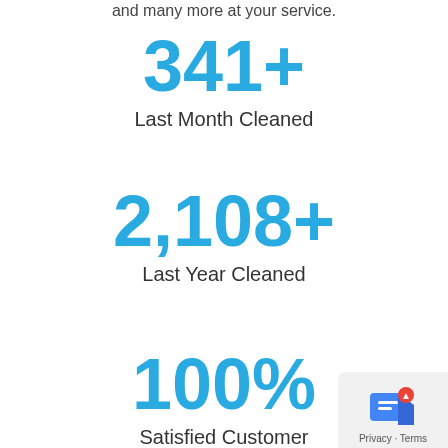and many more at your service.
341+
Last Month Cleaned
2,108+
Last Year Cleaned
100%
Satisfied Customer